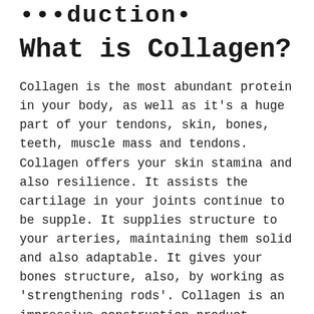• • • duction •
What is Collagen?
Collagen is the most abundant protein in your body, as well as it's a huge part of your tendons, skin, bones, teeth, muscle mass and tendons. Collagen offers your skin stamina and also resilience. It assists the cartilage in your joints continue to be supple. It supplies structure to your arteries, maintaining them solid and also adaptable. It gives your bones structure, also, by working as 'strengthening rods'. Collagen is an impressive construction product.
Collagen comes in several forms, yet the